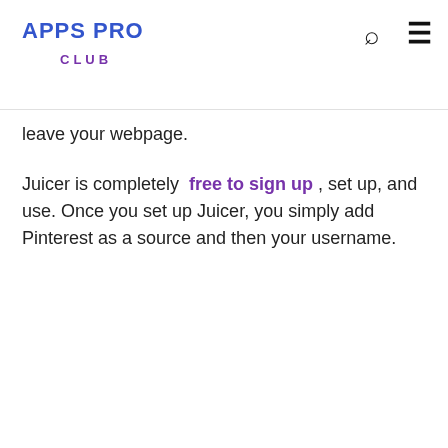APPS PRO CLUB
leave your webpage.
Juicer is completely free to sign up , set up, and use. Once you set up Juicer, you simply add Pinterest as a source and then your username.